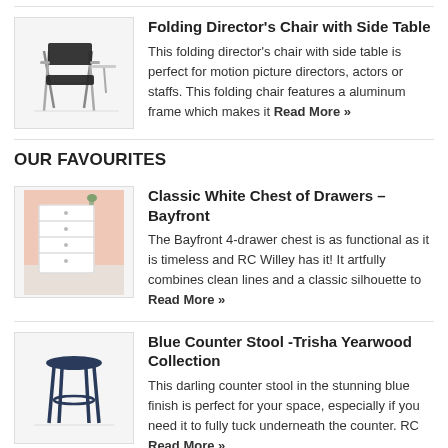Folding Director's Chair with Side Table — This folding director's chair with side table is perfect for motion picture directors, actors or staffs. This folding chair features a aluminum frame which makes it Read More »
OUR FAVOURITES
Classic White Chest of Drawers – Bayfront — The Bayfront 4-drawer chest is as functional as it is timeless and RC Willey has it! It artfully combines clean lines and a classic silhouette to Read More »
Blue Counter Stool -Trisha Yearwood Collection — This darling counter stool in the stunning blue finish is perfect for your space, especially if you need it to fully tuck underneath the counter. RC Read More »
Noritake Java Graphite Swirl Accent/Luncheon Plate, 9"